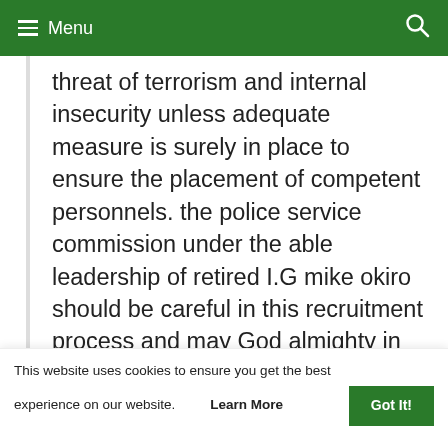≡ Menu 🔍
threat of terrorism and internal insecurity unless adequate measure is surely in place to ensure the placement of competent personnels. the police service commission under the able leadership of retired I.G mike okiro should be careful in this recruitment process and may God almighty in his infinite mercy help me to survive successfully my
This website uses cookies to ensure you get the best experience on our website. Learn More  Got It!